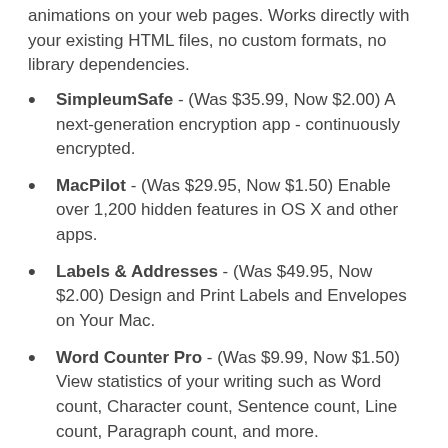animations on your web pages. Works directly with your existing HTML files, no custom formats, no library dependencies.
SimpleumSafe - (Was $35.99, Now $2.00) A next-generation encryption app - continuously encrypted.
MacPilot - (Was $29.95, Now $1.50) Enable over 1,200 hidden features in OS X and other apps.
Labels & Addresses - (Was $49.95, Now $2.00) Design and Print Labels and Envelopes on Your Mac.
Word Counter Pro - (Was $9.99, Now $1.50) View statistics of your writing such as Word count, Character count, Sentence count, Line count, Paragraph count, and more.
CloudMounter - (Was $44.99, Now $1.50) Mount cloud storage as local drive on Mac.
PDF Converter Master - (Was $29.99, Now $2.00) Converts PDF into 16 common document formats. Best solution for all your PDF conversion needs.